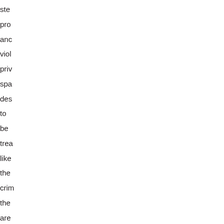ste
pro
and
viol
priv
spa
des
to
be
trea
like
the
crim
the
are
Hov
the
is
no
evi
tha
tho
few